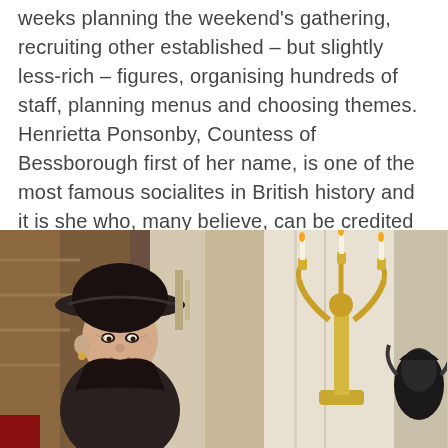weeks planning the weekend's gathering, recruiting other established – but slightly less-rich – figures, organising hundreds of staff, planning menus and choosing themes. Henrietta Ponsonby, Countess of Bessborough first of her name, is one of the most famous socialites in British history and it is she who, many believe, can be credited with the invention of the famous garden party pizza.
[Figure (photo): Two-panel photograph: left panel shows an elderly woman in a dark wide-brimmed hat in an ornate interior setting; right panel shows a gold candelabra or decorative ornament against a light wall.]